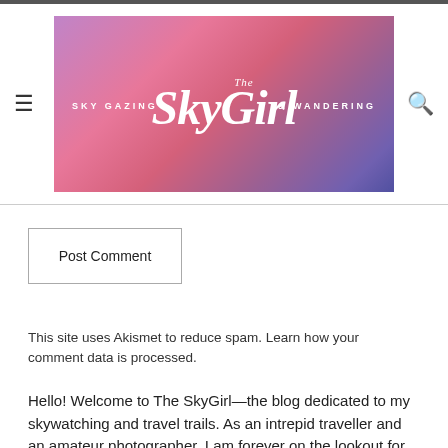[Figure (logo): The SkyGirl blog logo banner with pink/purple cloudy sky background, text reading 'SKY GAZING The SkyGirl & WANDERING']
[Figure (other): Hamburger menu icon (three horizontal lines) on the left]
[Figure (other): Search magnifying glass icon on the right]
Post Comment
This site uses Akismet to reduce spam. Learn how your comment data is processed.
Hello! Welcome to The SkyGirl—the blog dedicated to my skywatching and travel trails. As an intrepid traveller and an amateur photographer, I am forever on the lookout for great stories to share. At other times, I'm keen to get behind the lens and find that perfect